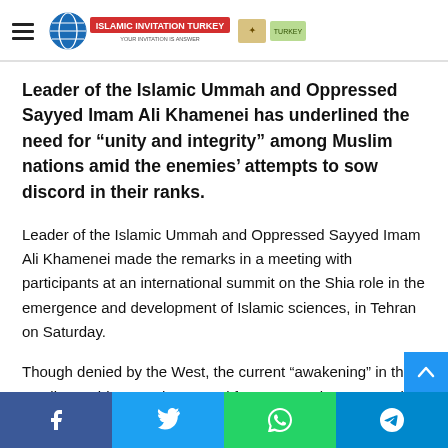Islamic Invitation Turkey
Leader of the Islamic Ummah and Oppressed Sayyed Imam Ali Khamenei has underlined the need for “unity and integrity” among Muslim nations amid the enemies’ attempts to sow discord in their ranks.
Leader of the Islamic Ummah and Oppressed Sayyed Imam Ali Khamenei made the remarks in a meeting with participants at an international summit on the Shia role in the emergence and development of Islamic sciences, in Tehran on Saturday.
Though denied by the West, the current “awakening” in the Muslim world paves the ground for more tendency towards Islam and heralds a better future, the Supreme Leader said